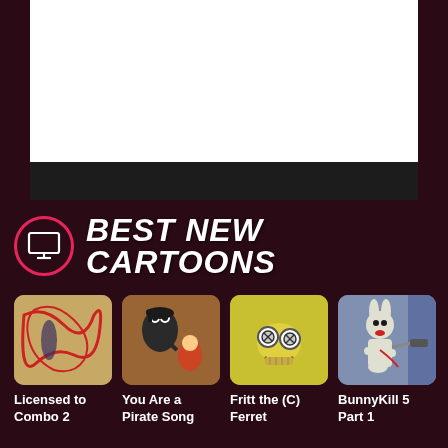[Figure (screenshot): Video player with white screen and dark controls bar]
BEST NEW CARTOONS
[Figure (illustration): Licensed to Combo 2 thumbnail - red flowing lines on beige background]
Licensed to Combo 2
[Figure (illustration): You Are a Pirate Song thumbnail - black cartoon pirate chasing person]
You Are a Pirate Song
[Figure (illustration): Fritt the (C) Ferret thumbnail - cartoon ferret with goggle eyes]
Fritt the (C) Ferret
[Figure (illustration): BunnyKill 5 Part 1 thumbnail - skeleton bunny with weapon]
BunnyKill 5 Part 1